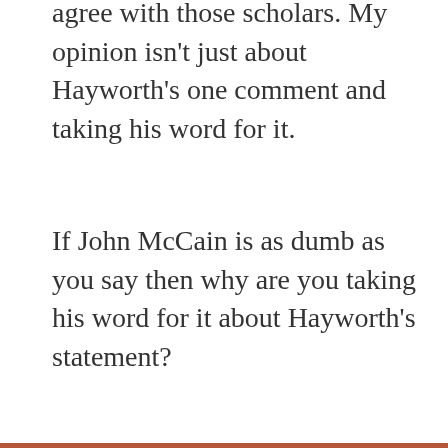agree with those scholars. My opinion isn't just about Hayworth's one comment and taking his word for it.
If John McCain is as dumb as you say then why are you taking his word for it about Hayworth's statement?
★ Like
Tootie says: